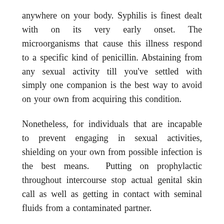anywhere on your body. Syphilis is finest dealt with on its very early onset. The microorganisms that cause this illness respond to a specific kind of penicillin. Abstaining from any sexual activity till you've settled with simply one companion is the best way to avoid on your own from acquiring this condition.
Nonetheless, for individuals that are incapable to prevent engaging in sexual activities, shielding on your own from possible infection is the best means. Putting on prophylactic throughout intercourse stop actual genital skin call as well as getting in contact with seminal fluids from a contaminated partner.
Being liberal does not have to relate to being negligent. Living in a permissive culture in which one-night stand, nevertheless frowned upon it